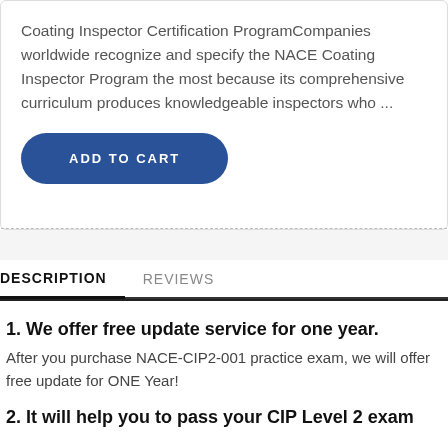Coating Inspector Certification ProgramCompanies worldwide recognize and specify the NACE Coating Inspector Program the most because its comprehensive curriculum produces knowledgeable inspectors who ...
[Figure (other): ADD TO CART button — blue rounded rectangle button with white uppercase text]
DESCRIPTION    REVIEWS
1. We offer free update service for one year.
After you purchase NACE-CIP2-001 practice exam, we will offer free update for ONE Year!
2. It will help you to pass your CIP Level 2 exam